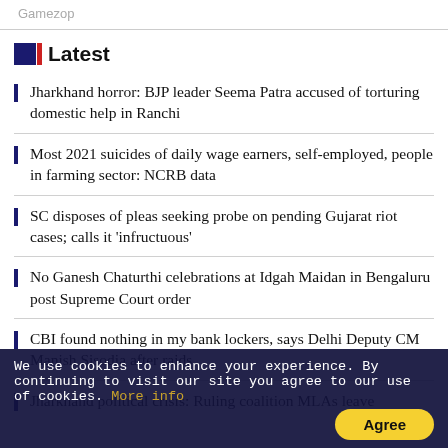Gamezop
Latest
Jharkhand horror: BJP leader Seema Patra accused of torturing domestic help in Ranchi
Most 2021 suicides of daily wage earners, self-employed, people in farming sector: NCRB data
SC disposes of pleas seeking probe on pending Gujarat riot cases; calls it 'infructuous'
No Ganesh Chaturthi celebrations at Idgah Maidan in Bengaluru post Supreme Court order
CBI found nothing in my bank lockers, says Delhi Deputy CM Manish Sisodia after raids
Jharkhand political crisis: Ruling coalition MLAs leave
We use cookies to enhance your experience. By continuing to visit our site you agree to our use of cookies. More info